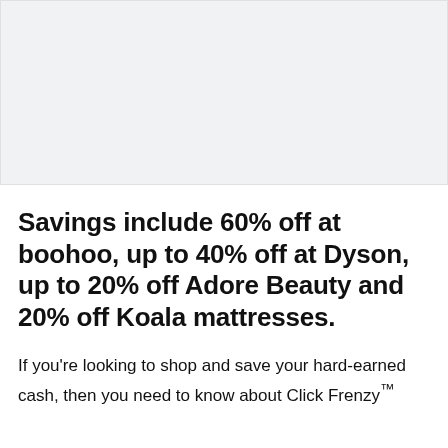[Figure (photo): Light grey placeholder image area at the top of the page]
Savings include 60% off at boohoo, up to 40% off at Dyson, up to 20% off Adore Beauty and 20% off Koala mattresses.
If you're looking to shop and save your hard-earned cash, then you need to know about Click Frenzy™